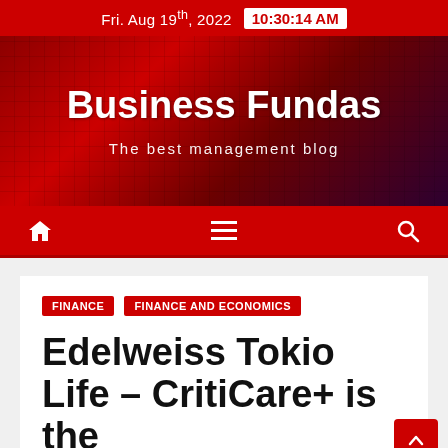Fri. Aug 19th, 2022  10:30:14 AM
Business Fundas
The best management blog
FINANCE
FINANCE AND ECONOMICS
Edelweiss Tokio Life – CritiCare+ is the